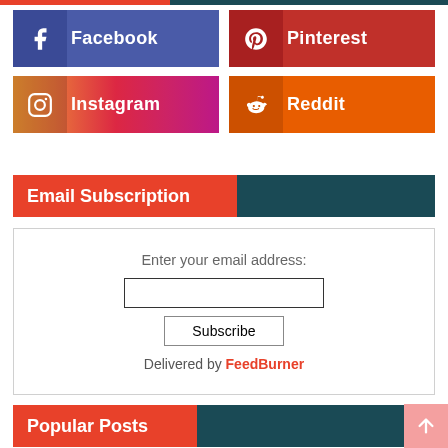[Figure (other): Social media follow buttons: Facebook, Pinterest, Instagram, Reddit]
Email Subscription
Enter your email address:
Subscribe
Delivered by FeedBurner
Popular Posts